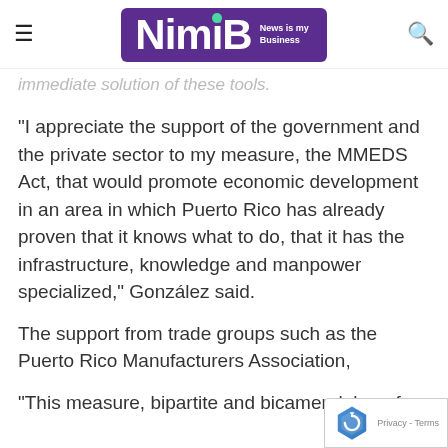[Figure (logo): NimB (News is my Business) logo — white text on purple/violet rounded rectangle background with green dot over the 'i' in NimB]
immediate solution of these tools.
“I appreciate the support of the government and the private sector to my measure, the MMEDS Act, that would promote economic development in an area in which Puerto Rico has already proven that it knows what to do, that it has the infrastructure, knowledge and manpower specialized,” González said.
The support from trade groups such as the Puerto Rico Manufacturers Association,
“This measure, bipartite and bicameral, benefits the local economy by promoting the development